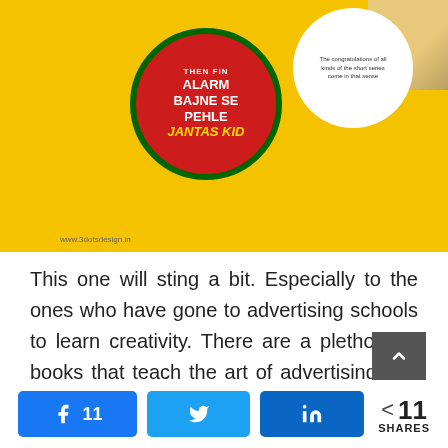[Figure (illustration): Yellow background graphic with a red circle containing text 'ALARM BAJNE SE PEHLE' with a brand script logo, a white circle with people and text on the right, and a watermark 'www.3dotsdesign.in' at bottom left.]
This one will sting a bit. Especially to the ones who have gone to advertising schools to learn creativity. There are a plethora of books that teach the art of advertising and there are gurus who have taught the art of storytelling themselves. Not invalidating their accomplishments or teachings completely, the #DotsFired now is set to spark some real conversations.
11  [Facebook share button]  [Twitter share button]  [LinkedIn share button]  < 11 SHARES